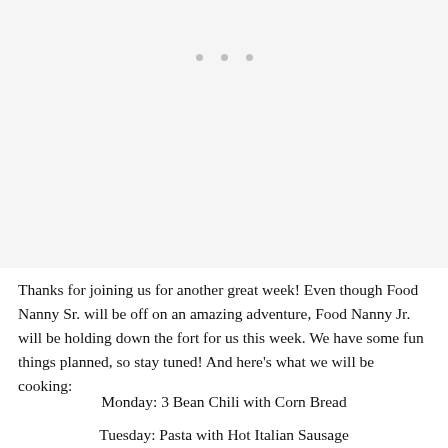[Figure (other): Large light gray image placeholder area with three small gray dots near the top center]
Thanks for joining us for another great week! Even though Food Nanny Sr. will be off on an amazing adventure, Food Nanny Jr. will be holding down the fort for us this week. We have some fun things planned, so stay tuned! And here's what we will be cooking:
Monday: 3 Bean Chili with Corn Bread
Tuesday: Pasta with Hot Italian Sausage